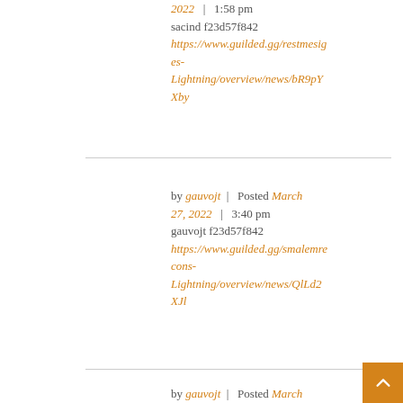2022   |   1:58 pm
sacind f23d57f842
https://www.guilded.gg/restmesiges-Lightning/overview/news/bR9pYXby
by gauvojt   |   Posted March 27, 2022   |   3:40 pm
gauvojt f23d57f842
https://www.guilded.gg/smalemrecons-Lightning/overview/news/QlLd2XJl
by gauvojt   |   Posted March 27, 2022   |   3:44 pm